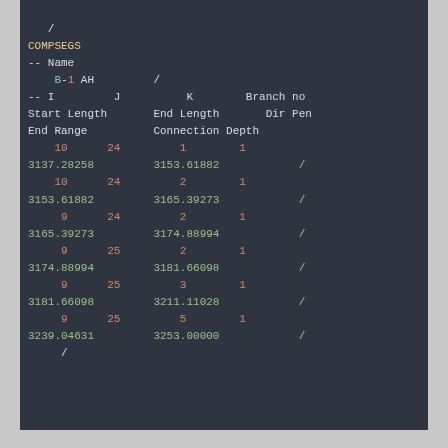/ COMPSEGS -- Name B-1 AH / -- I J K Branch no Start Length End Length Dir Pen End Range Connection Depth 10 24 1 1 3137.28258 3153.61882 / 10 24 2 1 3153.61882 3165.39273 / 9 24 2 1 3165.39273 3174.88994 / 9 25 2 1 3174.88994 3181.66098 / 9 25 3 1 3181.66098 3211.11028 / 9 25 5 1 3239.04631 3253.00000 / /